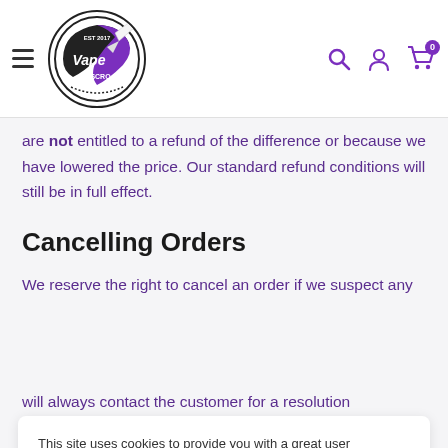[Figure (logo): Vape Discro circular logo with purple feather/pen design, EST 2017]
are not entitled to a refund of the difference or because we have lowered the price. Our standard refund conditions will still be in full effect.
Cancelling Orders
We reserve the right to cancel an order if we suspect any
This site uses cookies to provide you with a great user experience. If you're OK with that, just continue.
Accept
will always contact the customer for a resolution beforehand if